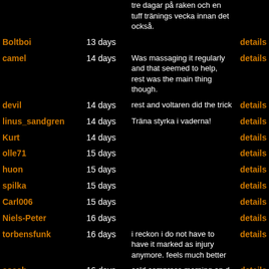| Username | Days | Note | Action |
| --- | --- | --- | --- |
|  |  | tre dagar på raken och en tuff tränings vecka innan det också. |  |
| Boltboi | 13 days |  | details |
| camel | 14 days | Was massaging it regularly and that seemed to help, rest was the main thing though. | details |
| devil | 14 days | rest and voltaren did the trick | details |
| linus_sandgren | 14 days | Träna styrka i vaderna! | details |
| Kurt | 14 days |  | details |
| olle71 | 15 days |  | details |
| huon | 15 days |  | details |
| spilka | 15 days |  | details |
| Carl006 | 15 days |  | details |
| Niels-Peter | 16 days |  | details |
| torbensfunk | 16 days | i reckon i do not have to have it marked as injury anymore. feels much better | details |
| coach | 16 days | cold compress morning an d evening | details |
| theshadow | 17 days | 4 days completely off- patience was rewarded | details |
| MikeMc | 17 days | Rested and massaged. | details |
| Keith | 17 days | Ice! Iceing it was very effective. | details |
| pi | 18 days | Long rest. | details |